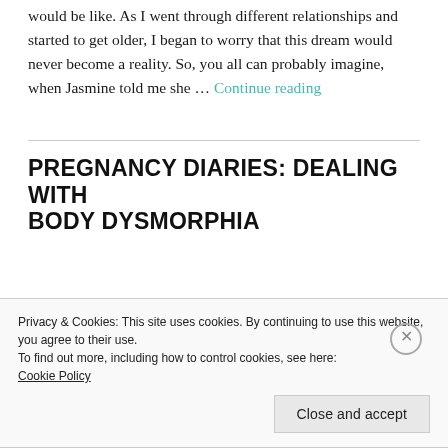would be like. As I went through different relationships and started to get older, I began to worry that this dream would never become a reality. So, you all can probably imagine, when Jasmine told me she … Continue reading
PREGNANCY DIARIES: DEALING WITH BODY DYSMORPHIA
Privacy & Cookies: This site uses cookies. By continuing to use this website, you agree to their use.
To find out more, including how to control cookies, see here:
Cookie Policy
Close and accept